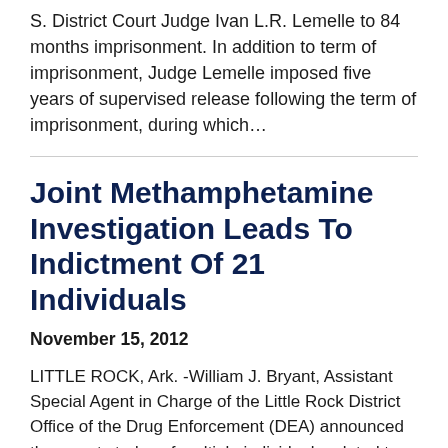S. District Court Judge Ivan L.R. Lemelle to 84 months imprisonment. In addition to term of imprisonment, Judge Lemelle imposed five years of supervised release following the term of imprisonment, during which…
Joint Methamphetamine Investigation Leads To Indictment Of 21 Individuals
November 15, 2012
LITTLE ROCK, Ark. - William J. Bryant, Assistant Special Agent in Charge of the Little Rock District Office of the Drug Enforcement (DEA) announced the arrests today of multiple individuals related to a federal indictment focused on methamphetamine distribution in the central Arkansas area. The